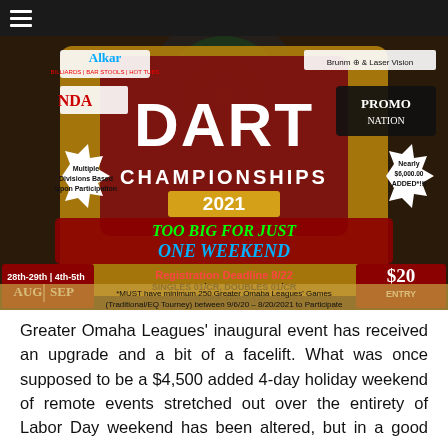Greater Omaha Leagues - Dart Championships 2021
[Figure (photo): Dart Championships 2021 promotional poster. Shows a dartboard background with text: DART CHAMPIONSHIPS 2021. TOO BIG FOR JUST ONE WEEKEND. Registration Deadline 8/22. SINGLES 01/CR, DOUBLES 01/CR, 10.0 CAP TEAM CR. Dates: 28th-29th AUG and 4th-5th SEP. Nearly $6,000.00 ADDED*!!! $20 ENTRY. Multiple Divisions Based Upon Participation. Sponsors: Alkar Billiards Bar Stools Hot Tubs, NDA, Brunm Laser Vision, Promo Nation. *MUST have minimum 250 Greater Omaha Leagues' Games (Traditional/EQ Tourney) between 9/6/20 - 8/20/2021 to Participate.]
Greater Omaha Leagues' inaugural event has received an upgrade and a bit of a facelift. What was once supposed to be a $4,500 added 4-day holiday weekend of remote events stretched out over the entirety of Labor Day weekend has been altered, but in a good way.